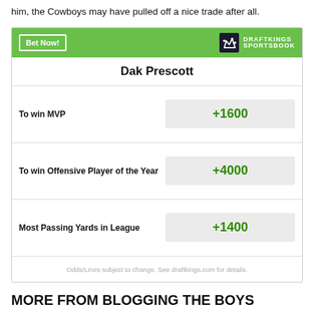him, the Cowboys may have pulled off a nice trade after all.
[Figure (other): DraftKings Sportsbook betting widget for Dak Prescott showing odds: To win MVP +1600, To win Offensive Player of the Year +4000, Most Passing Yards in League +1400. Includes 'Bet Now!' button and DraftKings Sportsbook logo. Footer reads: Odds/Lines subject to change. See draftkings.com for details.]
MORE FROM BLOGGING THE BOYS
Who makes the cut? Ranking the top 10 wide receivers